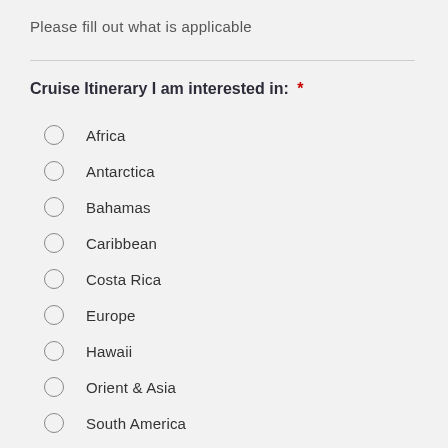Please fill out what is applicable
Cruise Itinerary I am interested in: *
Africa
Antarctica
Bahamas
Caribbean
Costa Rica
Europe
Hawaii
Orient & Asia
South America
Trans-Atlantic